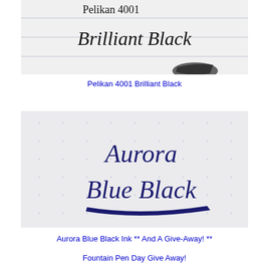[Figure (photo): Handwritten text on lined paper reading 'Pelikan 4001 Brilliant Black' in cursive, with a partial view of a fountain pen nib at the bottom.]
Pelikan 4001 Brilliant Black
[Figure (photo): Handwritten cursive text on dotted paper reading 'Aurora Blue Black' with a signature-style underline.]
Aurora Blue Black Ink ** And A Give-Away! **
Fountain Pen Day Give Away!